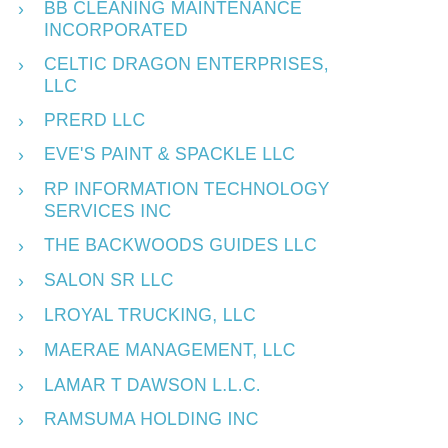> BB CLEANING MAINTENANCE INCORPORATED
> CELTIC DRAGON ENTERPRISES, LLC
> PRERD LLC
> EVE'S PAINT & SPACKLE LLC
> RP INFORMATION TECHNOLOGY SERVICES INC
> THE BACKWOODS GUIDES LLC
> SALON SR LLC
> LROYAL TRUCKING, LLC
> MAERAE MANAGEMENT, LLC
> LAMAR T DAWSON L.L.C.
> RAMSUMA HOLDING INC